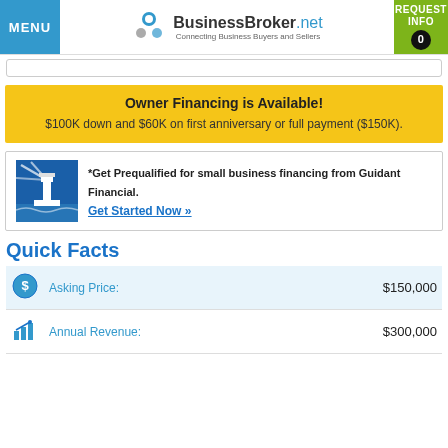MENU | BusinessBroker.net Connecting Business Buyers and Sellers | REQUEST INFO 0
Owner Financing is Available! $100K down and $60K on first anniversary or full payment ($150K).
*Get Prequalified for small business financing from Guidant Financial. Get Started Now »
Quick Facts
| Icon | Label | Value |
| --- | --- | --- |
| [icon] | Asking Price: | $150,000 |
| [icon] | Annual Revenue: | $300,000 |